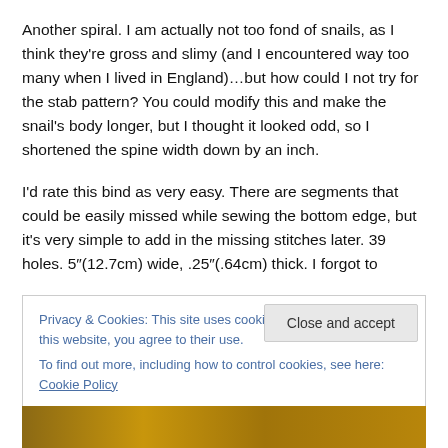Another spiral. I am actually not too fond of snails, as I think they're gross and slimy (and I encountered way too many when I lived in England)…but how could I not try for the stab pattern? You could modify this and make the snail's body longer, but I thought it looked odd, so I shortened the spine width down by an inch.
I'd rate this bind as very easy. There are segments that could be easily missed while sewing the bottom edge, but it's very simple to add in the missing stitches later. 39 holes. 5"(12.7cm) wide, .25"(.64cm) thick. I forgot to
Privacy & Cookies: This site uses cookies. By continuing to use this website, you agree to their use.
To find out more, including how to control cookies, see here: Cookie Policy
Close and accept
[Figure (photo): Bottom edge of the page showing a partial photo strip, brownish/golden tones]